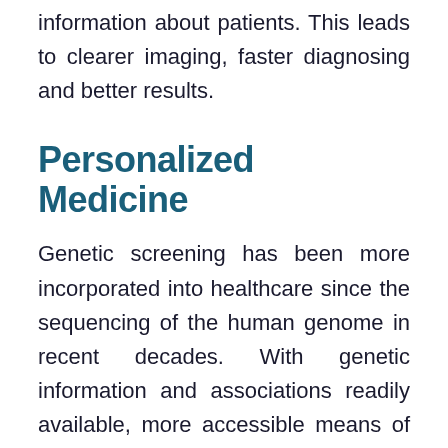information about patients. This leads to clearer imaging, faster diagnosing and better results.
Personalized Medicine
Genetic screening has been more incorporated into healthcare since the sequencing of the human genome in recent decades. With genetic information and associations readily available, more accessible means of accessing patient DNA have been developed. There are now easy methods of reaching a patient's genetic code and assessing their risk for certain health issues that carry genetic risks.